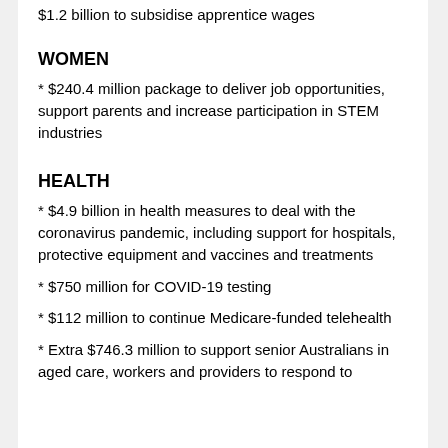$1.2 billion to subsidise apprentice wages
WOMEN
* $240.4 million package to deliver job opportunities, support parents and increase participation in STEM industries
HEALTH
* $4.9 billion in health measures to deal with the coronavirus pandemic, including support for hospitals, protective equipment and vaccines and treatments
* $750 million for COVID-19 testing
* $112 million to continue Medicare-funded telehealth
* Extra $746.3 million to support senior Australians in aged care, workers and providers to respond to